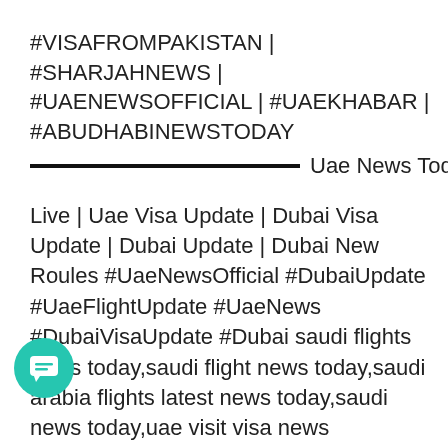#VISAFROMPAKISTAN | #SHARJAHNEWS | #UAENEWSOFFICIAL | #UAEKHABAR | #ABUDHABINEWSTODAY
Uae News Today Live | Uae Visa Update | Dubai Visa Update | Dubai Update | Dubai New Roules #UaeNewsOfficial #DubaiUpdate #UaeFlightUpdate #UaeNews #DubaiVisaUpdate #Dubai saudi flights news today,saudi flight news today,saudi arabia flights latest news today,saudi news today,uae visit visa news today,saudi flight news,dubai visit visa new update,flights update today saudi arabia,uae visit visa update,flights update today,saudi flights update today,dubai visit visa new update today,uae visit visa news,uae visit visa,saudi flight,saudi flight open date,dubai visit visa,abu dhabi visit news todaydubai visit visa new update,dubai visit visa,uae visit visa,dubai visit visa new update today,uae visit visa news,uae visit visa update,dubai visit visa
[Figure (other): Teal circular chat button with message icon]